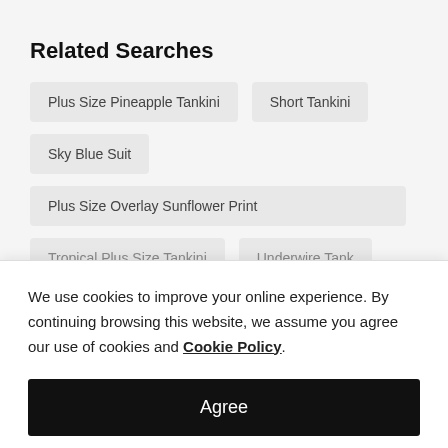Related Searches
Plus Size Pineapple Tankini
Short Tankini
Sky Blue Suit
Plus Size Overlay Sunflower Print
We use cookies to improve your online experience. By continuing browsing this website, we assume you agree our use of cookies and Cookie Policy.
Agree